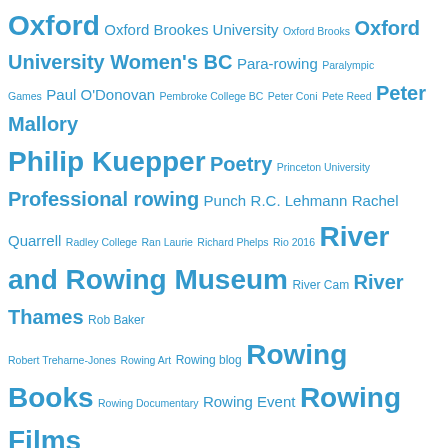Oxford Oxford Brookes University Oxford Brooks Oxford University Women's BC Para-rowing Paralympic Games Paul O'Donovan Pembroke College BC Peter Coni Pete Reed Peter Mallory Philip Kuepper Poetry Princeton University Professional rowing Punch R.C. Lehmann Rachel Quarrell Radley College Ran Laurie Richard Phelps Rio 2016 River and Rowing Museum River Cam River Thames Rob Baker Robert Treharne-Jones Rowing Art Rowing blog Rowing Books Rowing Documentary Rowing Event Rowing Films Rowing Hall of Fame Rowing History Forum Rowing in Australia Rowing in Germany Rowing in New Zealand Rowing in Plays Rowing Magazines Rowing nonsense Rowing oddities Rowing Paintings Rowing Poetry Rowing Trophy Sculling Sean Rowden